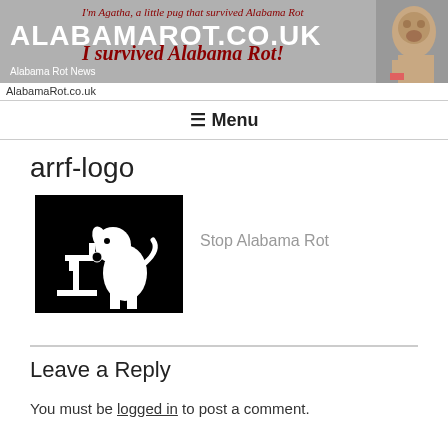[Figure (screenshot): Website header banner for AlabamaRot.co.uk featuring the site title in white bold text, an italic red tagline reading 'I'm Agatha, a little pug that survived Alabama Rot' and 'I survived Alabama Rot!' in large italic red text, over a grey background with a pug photo on the right.]
AlabamaRot.co.uk
≡ Menu
arrf-logo
[Figure (logo): ARRF logo: black square with white silhouette of a dog looking into a microscope, beside grey text reading 'Stop Alabama Rot']
Leave a Reply
You must be logged in to post a comment.